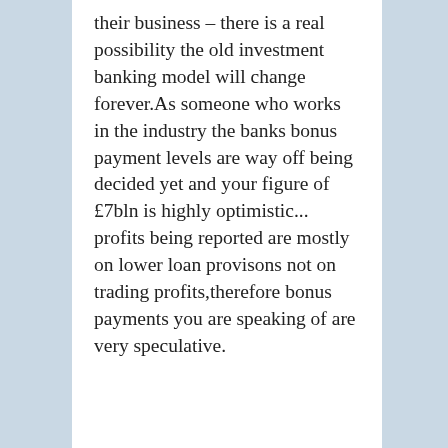their business – there is a real possibility the old investment banking model will change forever.As someone who works in the industry the banks bonus payment levels are way off being decided yet and your figure of £7bln is highly optimistic... profits being reported are mostly on lower loan provisons not on trading profits,therefore bonus payments you are speaking of are very speculative.